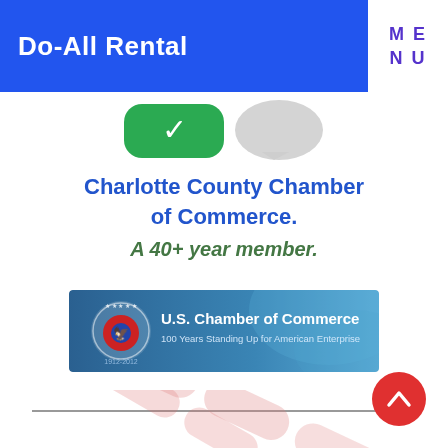Do-All Rental
ME
NU
[Figure (screenshot): Phone icon/app screenshot showing green and grey chat bubble icons]
Charlotte County Chamber of Commerce.
A 40+ year member.
[Figure (logo): U.S. Chamber of Commerce banner logo - 100 Years Standing Up for American Enterprise]
[Figure (screenshot): Faded pink/red overlapping pill-shaped search or navigation UI elements in bottom half]
[Figure (other): Red circular scroll-to-top button with upward chevron arrow]